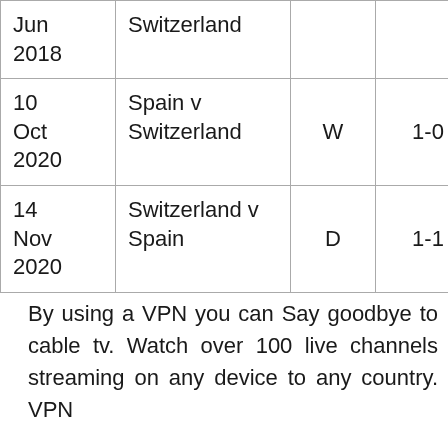| Date | Match | Result | Score |  |
| --- | --- | --- | --- | --- |
| Jun 2018 | Switzerland |  |  |  |
| 10 Oct 2020 | Spain v Switzerland | W | 1-0 | U
L |
| 14 Nov 2020 | Switzerland v Spain | D | 1-1 | U
L |
By using a VPN you can Say goodbye to cable tv. Watch over 100 live channels streaming on any device to any country. VPN